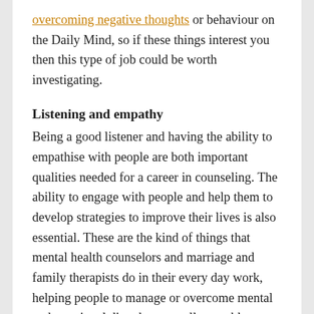overcoming negative thoughts or behaviour on the Daily Mind, so if these things interest you then this type of job could be worth investigating.
Listening and empathy
Being a good listener and having the ability to empathise with people are both important qualities needed for a career in counseling. The ability to engage with people and help them to develop strategies to improve their lives is also essential. These are the kind of things that mental health counselors and marriage and family therapists do in their every day work, helping people to manage or overcome mental and emotional disorders as well as problems with their